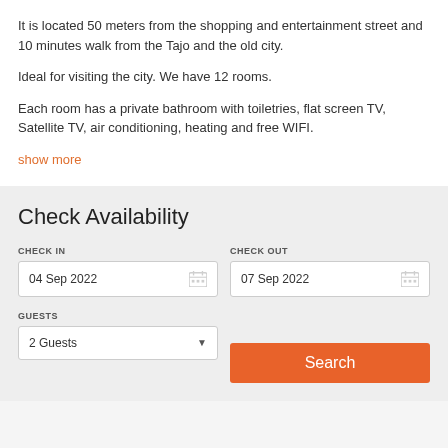It is located 50 meters from the shopping and entertainment street and 10 minutes walk from the Tajo and the old city.
Ideal for visiting the city. We have 12 rooms.
Each room has a private bathroom with toiletries, flat screen TV, Satellite TV, air conditioning, heating and free WIFI.
show more
Check Availability
CHECK IN
04 Sep 2022
CHECK OUT
07 Sep 2022
GUESTS
2 Guests
Search